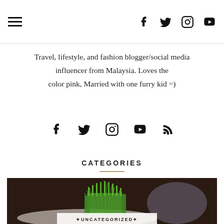[hamburger menu] [facebook] [twitter] [instagram] [youtube icons]
Travel, lifestyle, and fashion blogger/social media influencer from Malaysia. Loves the color pink, Married with one furry kid =)
[Figure (infographic): Social media icons: facebook, twitter, instagram, youtube, rss]
CATEGORIES
[Figure (photo): Photo of green grass/plant in a pot with blurred background, with UNCATEGORIZED label overlay at bottom]